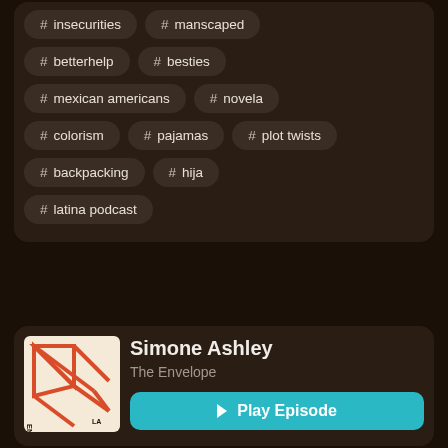# insecurities
# manscaped
# betterhelp
# besties
# mexican americans
# novela
# colorism
# pajamas
# plot twists
# backpacking
# hija
# latina podcast
Simone Ashley
The Envelope
Play Episode